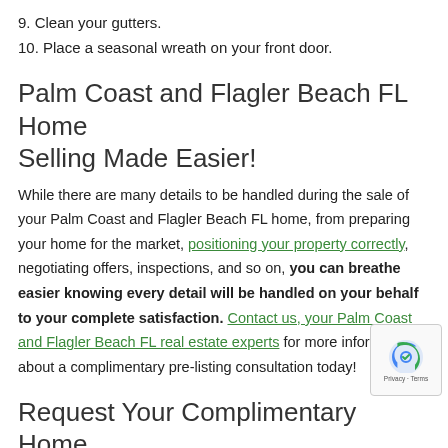9. Clean your gutters.
10. Place a seasonal wreath on your front door.
Palm Coast and Flagler Beach FL Home Selling Made Easier!
While there are many details to be handled during the sale of your Palm Coast and Flagler Beach FL home, from preparing your home for the market, positioning your property correctly, negotiating offers, inspections, and so on, you can breathe easier knowing every detail will be handled on your behalf to your complete satisfaction. Contact us, your Palm Coast and Flagler Beach FL real estate experts for more information about a complimentary pre-listing consultation today!
Request Your Complimentary Home